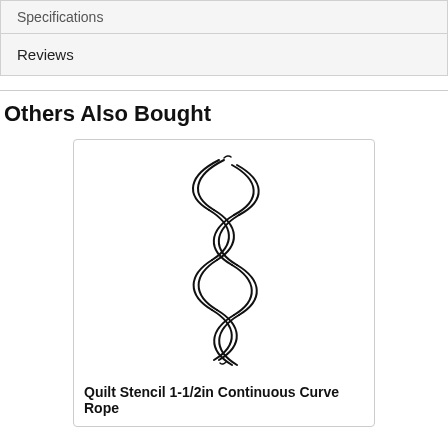Specifications
Reviews
Others Also Bought
[Figure (illustration): Line drawing of a twisted rope / continuous curve quilt stencil pattern — a vertical twisted rope shape with interlocking curved strands]
Quilt Stencil 1-1/2in Continuous Curve Rope